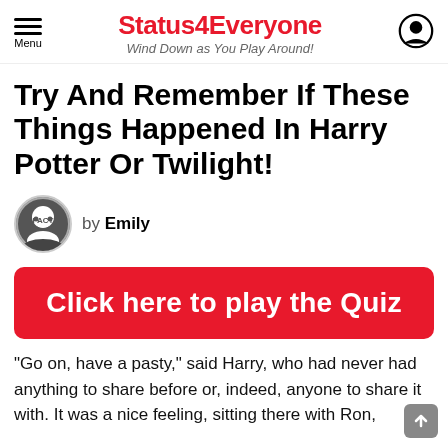Status4Everyone — Wind Down as You Play Around!
Try And Remember If These Things Happened In Harry Potter Or Twilight!
by Emily
Click here to play the Quiz
“Go on, have a pasty,” said Harry, who had never had anything to share before or, indeed, anyone to share it with. It was a nice feeling, sitting there with Ron,